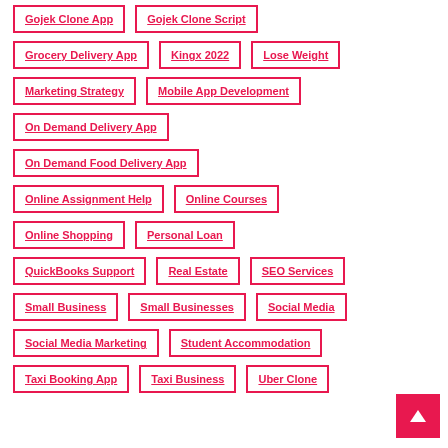Gojek Clone App
Gojek Clone Script
Grocery Delivery App
Kingx 2022
Lose Weight
Marketing Strategy
Mobile App Development
On Demand Delivery App
On Demand Food Delivery App
Online Assignment Help
Online Courses
Online Shopping
Personal Loan
QuickBooks Support
Real Estate
SEO Services
Small Business
Small Businesses
Social Media
Social Media Marketing
Student Accommodation
Taxi Booking App
Taxi Business
Uber Clone